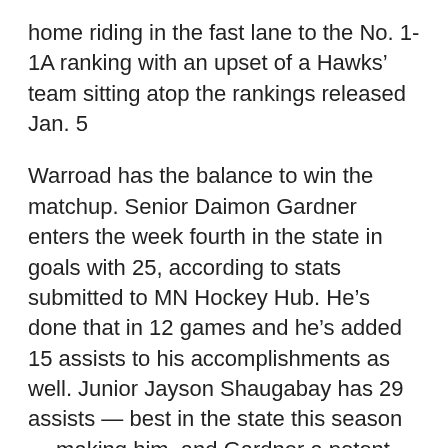home riding in the fast lane to the No. 1-1A ranking with an upset of a Hawks' team sitting atop the rankings released Jan. 5
Warroad has the balance to win the matchup. Senior Daimon Gardner enters the week fourth in the state in goals with 25, according to stats submitted to MN Hockey Hub. He's done that in 12 games and he's added 15 assists to his accomplishments as well. Junior Jayson Shaugabay has 29 assists — best in the state this season — making him  and Gardner a potent combo for the No. 2-1A Warriors. However, Warroad doesn't just win shootouts. The Warriors are allowing 1.24 goals per game, and goaltender Hampton Slukynsky has a .939 save percentage and six shutouts. Warroad is 14-0 for a reason.